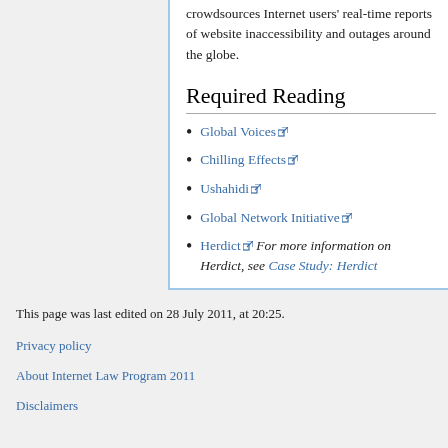crowdsources Internet users' real-time reports of website inaccessibility and outages around the globe.
Required Reading
Global Voices
Chilling Effects
Ushahidi
Global Network Initiative
Herdict  For more information on Herdict, see Case Study: Herdict
This page was last edited on 28 July 2011, at 20:25.

Privacy policy

About Internet Law Program 2011

Disclaimers